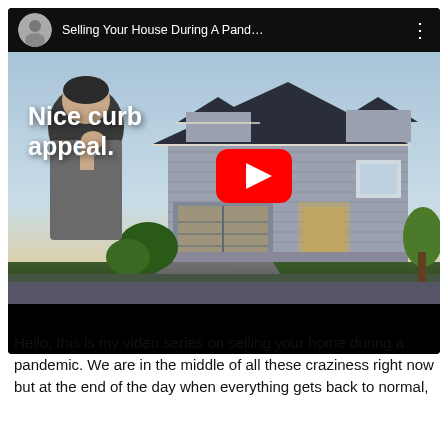[Figure (screenshot): YouTube video thumbnail showing a man thinking with his hand on chin, overlaid on a house with nice curb appeal. Title bar reads 'Selling Your House During A Pand...' with channel avatar. A red play button is centered on the thumbnail. Text overlay says 'Nice curb appeal.' Bottom is black bar.]
Hello, this is my video series on selling your home during a pandemic. We are in the middle of all these craziness right now but at the end of the day when everything gets back to normal,